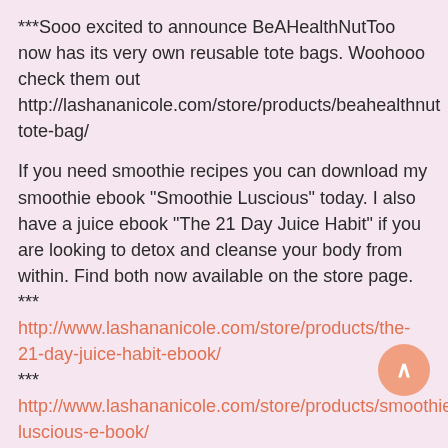***Sooo excited to announce BeAHealthNutToo now has its very own reusable tote bags. Woohooo check them out http://lashananicole.com/store/products/beahealthnut tote-bag/
If you need smoothie recipes you can download my smoothie ebook "Smoothie Luscious" today. I also have a juice ebook "The 21 Day Juice Habit" if you are looking to detox and cleanse your body from within. Find both now available on the store page. *** http://www.lashananicole.com/store/products/the-21-day-juice-habit-ebook/ *** http://www.lashananicole.com/store/products/smoothie-luscious-e-book/
*** Raw Food Tutorials are up